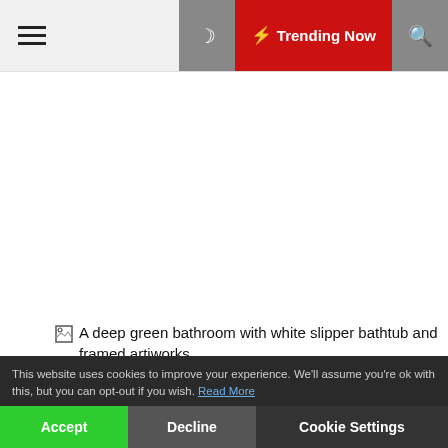☰  🌙  ⚡ Trending Now  🔍
[Figure (photo): A deep green bathroom with white slipper bathtub and framed artiworks (broken image placeholder)]
(Image credit: Bathroom Mountain)
Drilling holes into bathroom walls often isn't ideal, especially if your bathroom is rented. And even if you own your home, you might want to avoid damaging your painstakingly applied bathroom paintwork. The solution? If you have some ledge room on your walls, use it to create a relaxed, contemporary gallery wall, grouping several prints of different sizes. For maximum
This website uses cookies to improve your experience. We'll assume you're ok with this, but you can opt-out if you wish. Read More
Accept  Decline  Cookie Settings